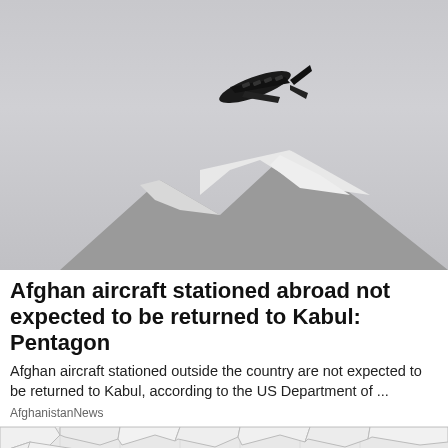[Figure (photo): Military transport aircraft (C-130 Hercules) flying over snow-capped mountains against a grey overcast sky]
Afghan aircraft stationed abroad not expected to be returned to Kabul: Pentagon
Afghan aircraft stationed outside the country are not expected to be returned to Kabul, according to the US Department of ...
AfghanistanNews
[Figure (photo): Cracked ground/puzzle-piece pattern with large bold text reading EARTHQUAKE partially visible]